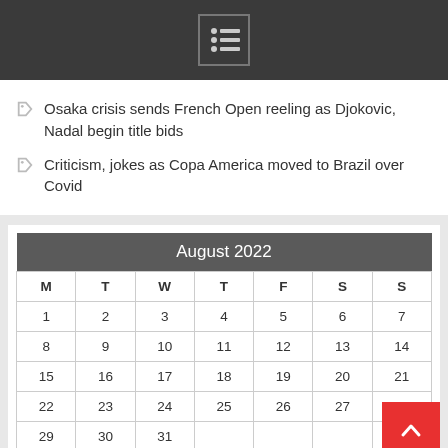[Figure (other): Top navigation bar with dark background and a list/menu icon centered]
Osaka crisis sends French Open reeling as Djokovic, Nadal begin title bids
Criticism, jokes as Copa America moved to Brazil over Covid
| M | T | W | T | F | S | S |
| --- | --- | --- | --- | --- | --- | --- |
| 1 | 2 | 3 | 4 | 5 | 6 | 7 |
| 8 | 9 | 10 | 11 | 12 | 13 | 14 |
| 15 | 16 | 17 | 18 | 19 | 20 | 21 |
| 22 | 23 | 24 | 25 | 26 | 27 | 28 |
| 29 | 30 | 31 |  |  |  |  |